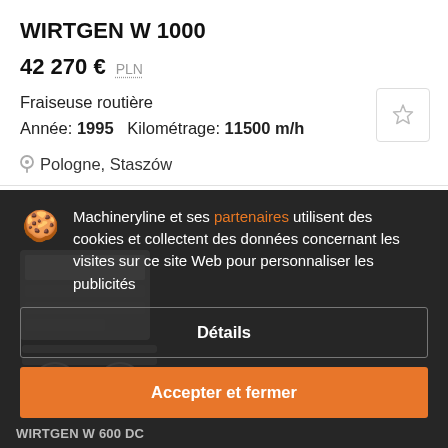WIRTGEN W 1000
42 270 €  PLN
Fraiseuse routière
Année: 1995   Kilométrage: 11500 m/h
Pologne, Staszów
Machineryline et ses partenaires utilisent des cookies et collectent des données concernant les visites sur ce site Web pour personnaliser les publicités
Détails
Accepter et fermer
WIRTGEN W 600 DC